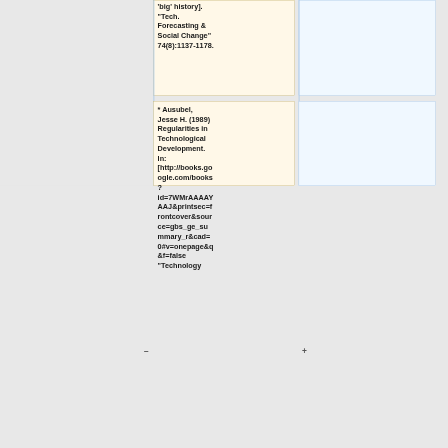'big' history]. "Tech. Forecasting & Social Change" 74(8):1137-1178.
* Ausubel, Jesse H. (1989) Regularities in Technological Development. In: [http://books.google.com/books?id=7WMrAAAAYAAJ&printsec=frontcover&source=gbs_ge_summary_r&cad=0#v=onepage&q&f=false "Technology